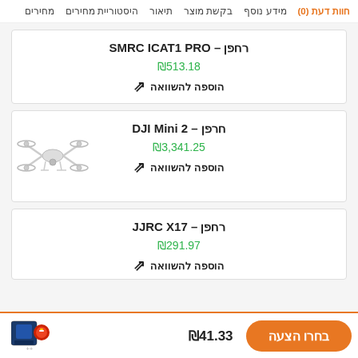מחירים | היסטוריית מחירים | תיאור | בקשת מוצר | מידע נוסף | חוות דעת (0)
רחפן – SMRC ICAT1 PRO
₪513.18
הוספה להשוואה
חרפן – DJI Mini 2
₪3,341.25
הוספה להשוואה
רחפן – JJRC X17
₪291.97
הוספה להשוואה
₪41.33
בחרו הצעה